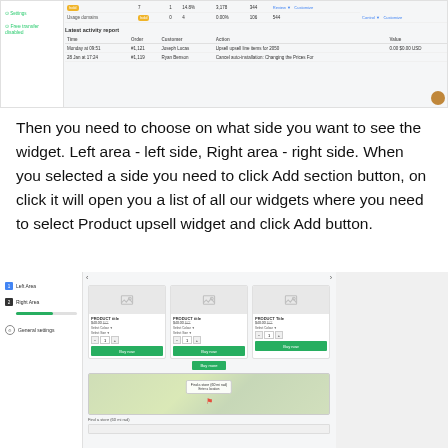[Figure (screenshot): Screenshot of a web dashboard showing a data table with activity report and rows with badges, and a user avatar in bottom right.]
Then you need to choose on what side you want to see the widget. Left area - left side, Right area - right side. When you selected a side you need to click Add section button, on click it will open you a list of all our widgets where you need to select Product upsell widget and click Add button.
[Figure (screenshot): Screenshot showing a product upsell widget configuration panel with left area and right area options, product cards with images, prices, quantity selectors and green Buy now buttons, plus a Google Maps section below.]